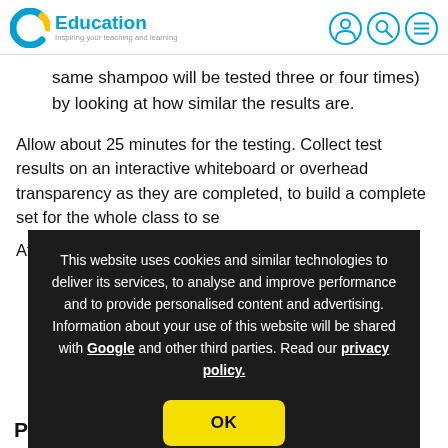C Education — Inspiring your teaching and learning
same shampoo will be tested three or four times) by looking at how similar the results are.
Allow about 25 minutes for the testing. Collect test results on an interactive whiteboard or overhead transparency as they are completed, to build a complete set for the whole class to se[e].
Af[ter the testing, discuss the results:] [list items partially visible]
[Figure (screenshot): Cookie consent overlay on dark background reading: 'This website uses cookies and similar technologies to deliver its services, to analyse and improve performance and to provide personalised content and advertising. Information about your use of this website will be shared with Google and other third parties. Read our privacy policy.' with an OK button.]
P[lanning]